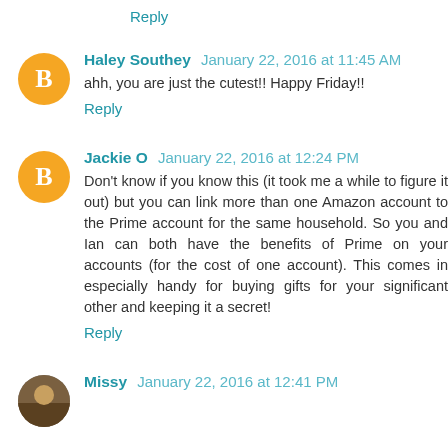Reply
Haley Southey  January 22, 2016 at 11:45 AM
ahh, you are just the cutest!! Happy Friday!!
Reply
Jackie O  January 22, 2016 at 12:24 PM
Don't know if you know this (it took me a while to figure it out) but you can link more than one Amazon account to the Prime account for the same household. So you and Ian can both have the benefits of Prime on your accounts (for the cost of one account). This comes in especially handy for buying gifts for your significant other and keeping it a secret!
Reply
Missy  January 22, 2016 at 12:41 PM